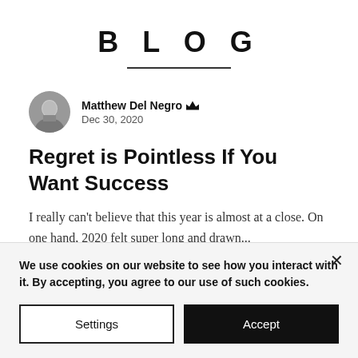BLOG
Matthew Del Negro  Dec 30, 2020
Regret is Pointless If You Want Success
I really can't believe that this year is almost at a close. On one hand, 2020 felt super long and drawn...
We use cookies on our website to see how you interact with it. By accepting, you agree to our use of such cookies.